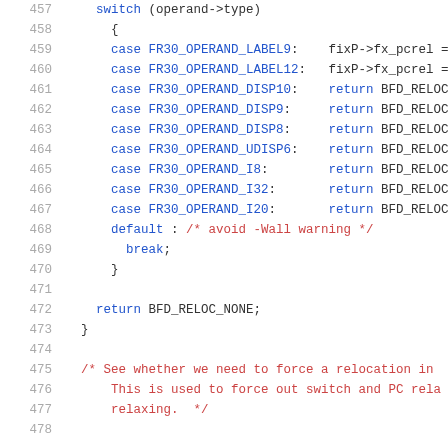Source code listing, lines 457-477, showing a switch statement on operand->type with cases for FR30_OPERAND_LABEL9, FR30_OPERAND_LABEL12, FR30_OPERAND_DISP10, FR30_OPERAND_DISP9, FR30_OPERAND_DISP8, FR30_OPERAND_UDISP6, FR30_OPERAND_I8, FR30_OPERAND_I32, FR30_OPERAND_I20, default with break, closing brace, return BFD_RELOC_NONE, closing brace, and a comment about forcing relocation.